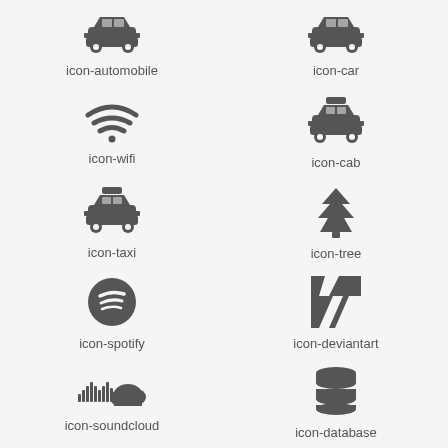[Figure (illustration): Car/automobile icon]
icon-automobile
[Figure (illustration): Car icon]
icon-car
[Figure (illustration): WiFi icon]
icon-wifi
[Figure (illustration): Cab/taxi icon with sign]
icon-cab
[Figure (illustration): Taxi icon]
icon-taxi
[Figure (illustration): Tree icon]
icon-tree
[Figure (illustration): Spotify icon]
icon-spotify
[Figure (illustration): DeviantArt icon]
icon-deviantart
[Figure (illustration): SoundCloud icon]
icon-soundcloud
[Figure (illustration): Database icon]
icon-database